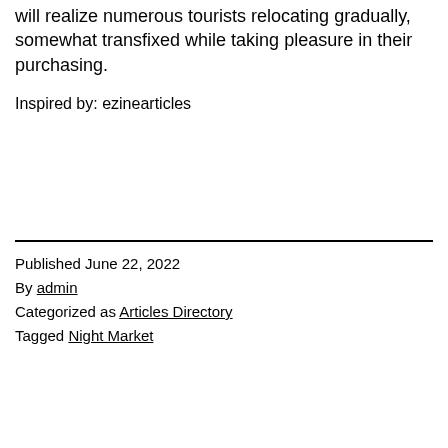will realize numerous tourists relocating gradually, somewhat transfixed while taking pleasure in their purchasing.
Inspired by: ezinearticles
Published June 22, 2022
By admin
Categorized as Articles Directory
Tagged Night Market